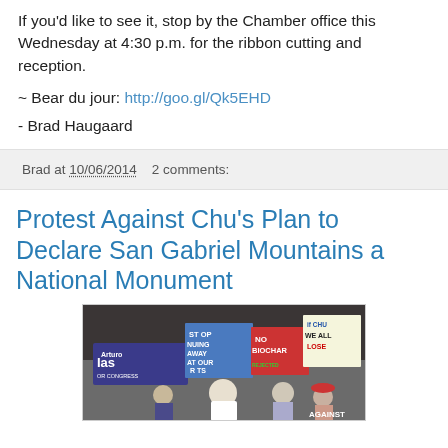If you'd like to see it, stop by the Chamber office this Wednesday at 4:30 p.m. for the ribbon cutting and reception.
~ Bear du jour: http://goo.gl/Qk5EHD
- Brad Haugaard
Brad at 10/06/2014   2 comments:
Protest Against Chu's Plan to Declare San Gabriel Mountains a National Monument
[Figure (photo): Protest scene with people holding signs including 'STOP GIVING AWAY OUR RIGHTS', 'NO BIOCHAR', 'IF CHU WINS WE ALL LOSE', and an Arturo Alas for Congress banner]